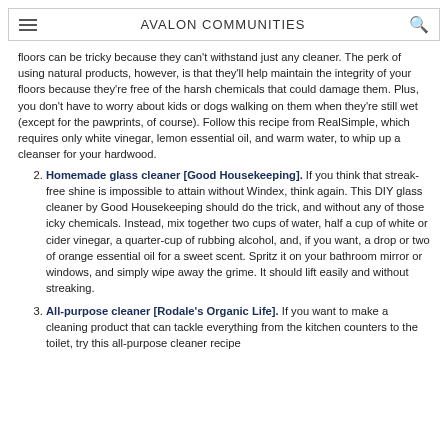AVALON COMMUNITIES
floors can be tricky because they can’t withstand just any cleaner. The perk of using natural products, however, is that they’ll help maintain the integrity of your floors because they’re free of the harsh chemicals that could damage them. Plus, you don’t have to worry about kids or dogs walking on them when they’re still wet (except for the pawprints, of course). Follow this recipe from RealSimple, which requires only white vinegar, lemon essential oil, and warm water, to whip up a cleanser for your hardwood.
Homemade glass cleaner [Good Housekeeping]. If you think that streak-free shine is impossible to attain without Windex, think again. This DIY glass cleaner by Good Housekeeping should do the trick, and without any of those icky chemicals. Instead, mix together two cups of water, half a cup of white or cider vinegar, a quarter-cup of rubbing alcohol, and, if you want, a drop or two of orange essential oil for a sweet scent. Spritz it on your bathroom mirror or windows, and simply wipe away the grime. It should lift easily and without streaking.
All-purpose cleaner [Rodale’s Organic Life]. If you want to make a cleaning product that can tackle everything from the kitchen counters to the toilet, try this all-purpose cleaner recipe